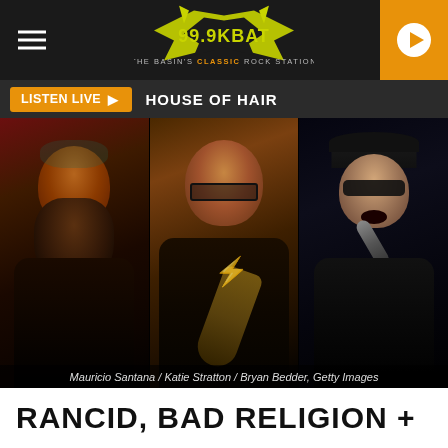[Figure (logo): 99.9 KBAT The Basin's Classic Rock Station bat logo in yellow/green on dark background]
LISTEN LIVE ▶  HOUSE OF HAIR
[Figure (photo): Three panel photo: left - heavily tattooed bald man with large beard and sunglasses performing; center - bald man with glasses playing guitar smiling; right - man in black cap and sunglasses singing into microphone]
Mauricio Santana / Katie Stratton / Bryan Bedder, Getty Images
RANCID, BAD RELIGION +